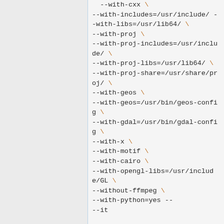--with cxx \
--with-includes=/usr/include/ --with-libs=/usr/lib64/ \
--with-proj \
--with-proj-includes=/usr/include/ \
--with-proj-libs=/usr/lib64/ \
--with-proj-share=/usr/share/proj/ \
--with-geos \
--with-geos=/usr/bin/geos-config \
--with-gdal=/usr/bin/gdal-config \
--with-x \
--with-motif \
--with-cairo \
--with-opengl-libs=/usr/include/GL \
--without-ffmpeg \
--with-python=yes --with-...